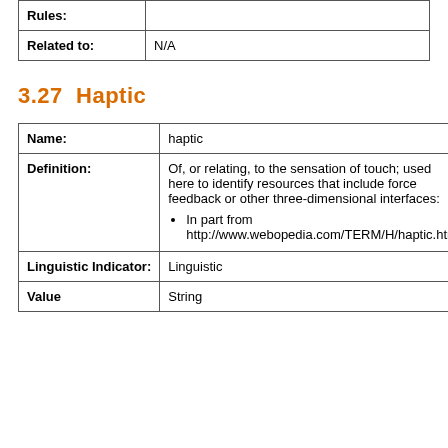| Rules: |  |
| Related to: | N/A |
3.27  Haptic
| Name: | haptic |
| Definition: | Of, or relating, to the sensation of touch; used here to identify resources that include force feedback or other three-dimensional interfaces:
• In part from http://www.webopedia.com/TERM/H/haptic.html |
| Linguistic Indicator: | Linguistic |
| Value | String |